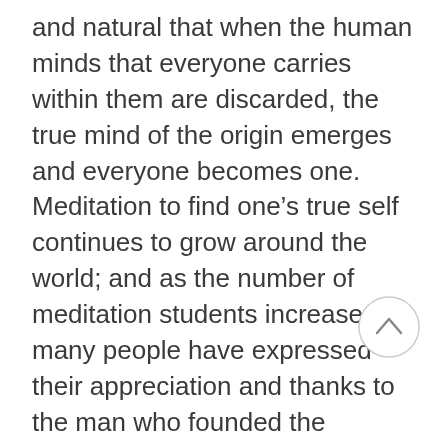and natural that when the human minds that everyone carries within them are discarded, the true mind of the origin emerges and everyone becomes one. Meditation to find one’s true self continues to grow around the world; and as the number of meditation students increases, many people have expressed their appreciation and thanks to the man who founded the method. However, Woo Myung finds meaning only when the students attain enlightenment and become free from their suffering; this is the reason he continues to travel to new and unfamiliar places. Fundamentally, he is a person of Truth who wishes for all people to